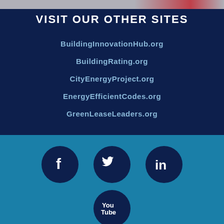VISIT OUR OTHER SITES
BuildingInnovationHub.org
BuildingRating.org
CityEnergyProject.org
EnergyEfficientCodes.org
GreenLeaseLeaders.org
[Figure (infographic): Social media icons: Facebook, Twitter, LinkedIn circles in top row; YouTube circle in second row, all on teal background]